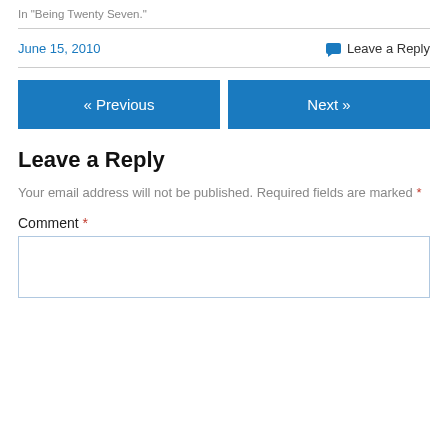In "Being Twenty Seven."
June 15, 2010   Leave a Reply
« Previous
Next »
Leave a Reply
Your email address will not be published. Required fields are marked *
Comment *